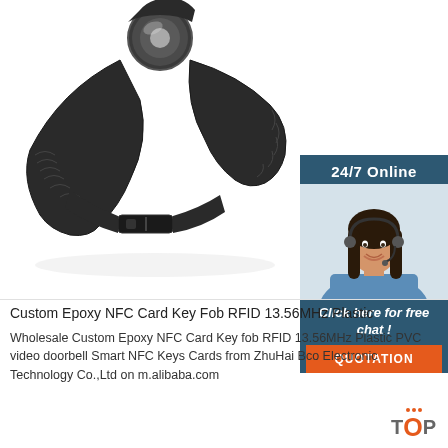[Figure (photo): RFID NFC wristband key fob with black woven strap and round chip housing on white background]
[Figure (infographic): 24/7 Online chat widget with female customer service agent wearing headset, 'Click here for free chat!' text and orange QUOTATION button on dark blue background]
Custom Epoxy NFC Card Key Fob RFID 13.56MHz Plastic
Wholesale Custom Epoxy NFC Card Key fob RFID 13.56MHz Plastic PVC video doorbell Smart NFC Keys Cards from ZhuHai Bco Electronic Technology Co.,Ltd on m.alibaba.com